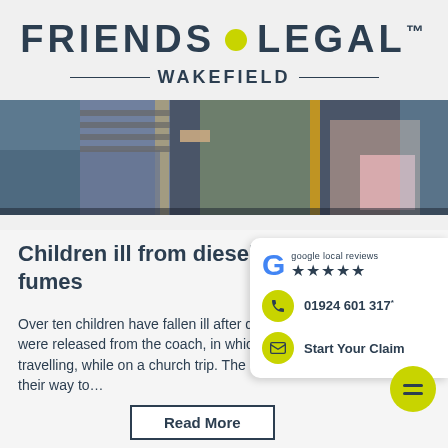[Figure (logo): Friends Legal Wakefield logo with yellow dot between FRIENDS and LEGAL, with TM mark, and WAKEFIELD subtitle with horizontal rules]
[Figure (photo): People standing on a bus or coach, yellow handrails visible, passengers holding onto poles]
Children ill from diesel fumes
Over ten children have fallen ill after dangerous fumes were released from the coach, in which they were travelling, while on a church trip. The children were on their way to…
[Figure (infographic): Sidebar card with Google 5-star local reviews, phone number 01924 601 317, and Start Your Claim email button]
Read More